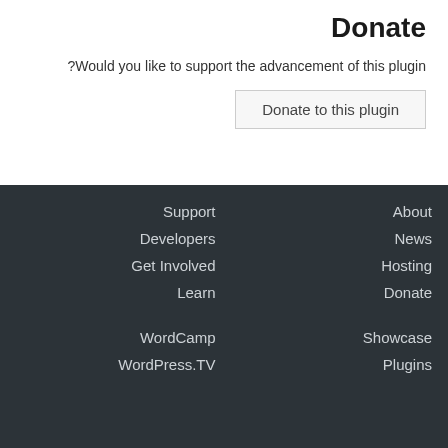Donate
?Would you like to support the advancement of this plugin
Donate to this plugin
Support
Developers
Get Involved
Learn
WordCamp
WordPress.TV
About
News
Hosting
Donate
Showcase
Plugins